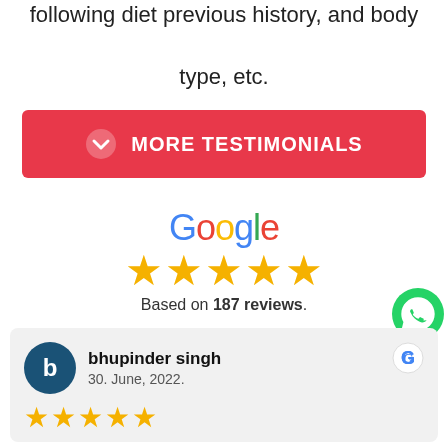following diet previous history, and body type, etc.
MORE TESTIMONIALS
[Figure (logo): Google logo in multicolor text]
[Figure (other): Five gold stars rating]
Based on 187 reviews.
bhupinder singh
30. June, 2022.
[Figure (other): Five gold stars in review card]